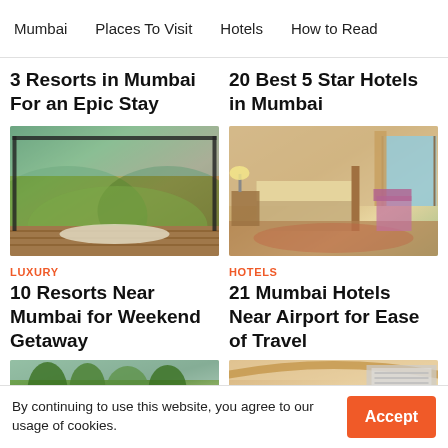Mumbai | Places To Visit | Hotels | How to Read
3 Resorts in Mumbai For an Epic Stay
20 Best 5 Star Hotels in Mumbai
[Figure (photo): Hammock on a wooden deck overlooking lush green hills through large glass windows at a resort near Mumbai]
[Figure (photo): Luxurious hotel room with a large bed, sitting area, and large windows overlooking a garden]
LUXURY
HOTELS
10 Resorts Near Mumbai for Weekend Getaway
21 Mumbai Hotels Near Airport for Ease of Travel
[Figure (photo): Trees and sky visible at a resort near Mumbai]
[Figure (photo): Interior of a hotel near Mumbai airport]
By continuing to use this website, you agree to our usage of cookies.